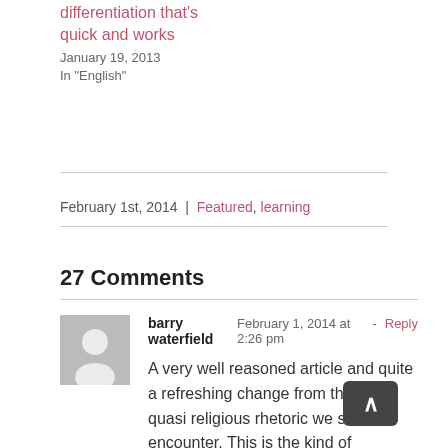differentiation that's quick and works
January 19, 2013
In "English"
February 1st, 2014  |  Featured, learning
27 Comments
barry waterfield  February 1, 2014 at 2:26 pm - Reply
A very well reasoned article and quite a refreshing change from the bold quasi religious rhetoric we so often encounter. This is the kind of understanding that has been, and still is to a great extent, missing from the